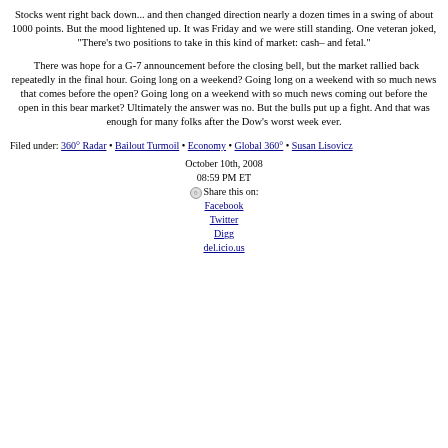Stocks went right back down... and then changed direction nearly a dozen times in a swing of about 1000 points. But the mood lightened up. It was Friday and we were still standing. One veteran joked, "There's two positions to take in this kind of market: cash– and fetal."
There was hope for a G-7 announcement before the closing bell, but the market rallied back repeatedly in the final hour. Going long on a weekend? Going long on a weekend with so much news that comes before the open? Going long on a weekend with so much news coming out before the open in this bear market? Ultimately the answer was no. But the bulls put up a fight. And that was enough for many folks after the Dow's worst week ever.
Filed under: 360° Radar • Bailout Turmoil • Economy • Global 360° • Susan Lisovicz
October 10th, 2008
08:59 PM ET
Share this on:
Facebook
Twitter
Digg
del.icio.us